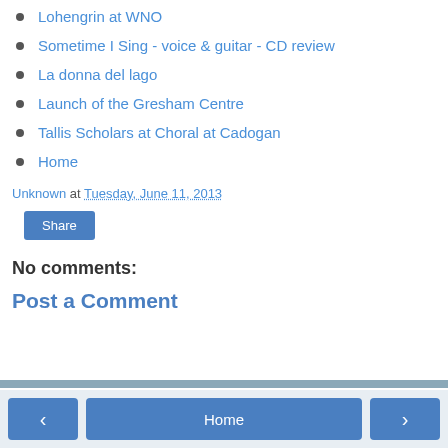Lohengrin at WNO
Sometime I Sing - voice & guitar - CD review
La donna del lago
Launch of the Gresham Centre
Tallis Scholars at Choral at Cadogan
Home
Unknown at Tuesday, June 11, 2013
Share
No comments:
Post a Comment
‹  Home  ›